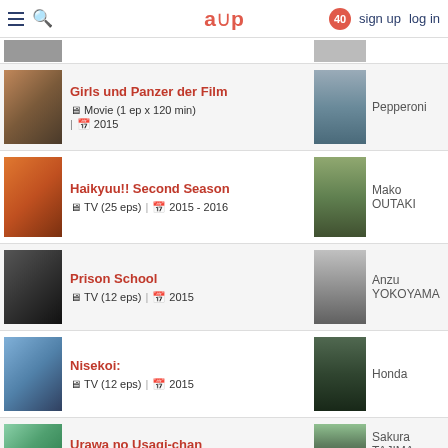≡ 🔍  aup  40  sign up  log in
Girls und Panzer der Film | Movie (1 ep x 120 min) | 2015 | Pepperoni
Haikyuu!! Second Season | TV (25 eps) | 2015 - 2016 | Mako OUTAKI
Prison School | TV (12 eps) | 2015 | Anzu YOKOYAMA
Nisekoi: | TV (12 eps) | 2015 | Honda
Urawa no Usagi-chan | Sakura TAJIMA